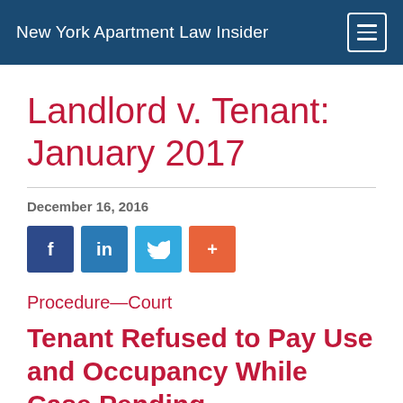New York Apartment Law Insider
Landlord v. Tenant: January 2017
December 16, 2016
[Figure (other): Social share buttons: Facebook, LinkedIn, Twitter, and a plus/more button]
Procedure—Court
Tenant Refused to Pay Use and Occupancy While Case Pending